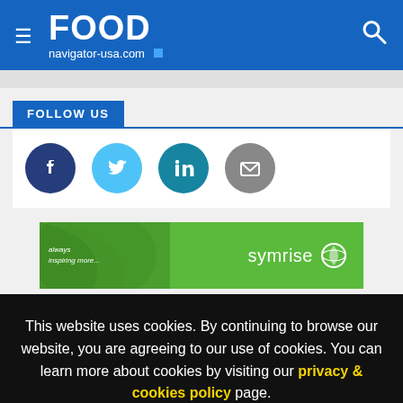FOOD navigator-usa.com
FOLLOW US
[Figure (infographic): Social media icons: Facebook (dark blue circle), Twitter (light blue circle), LinkedIn (teal circle), Email (gray circle)]
[Figure (infographic): Symrise advertisement banner: green background with leaf texture, text 'always inspiring more...' on left, 'symrise' logo with globe icon on right]
This website uses cookies. By continuing to browse our website, you are agreeing to our use of cookies. You can learn more about cookies by visiting our privacy & cookies policy page.
I Agree